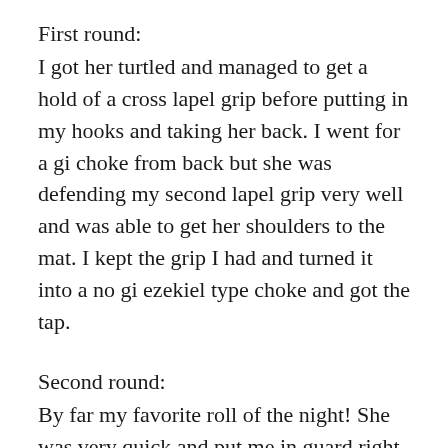First round:
I got her turtled and managed to get a hold of a cross lapel grip before putting in my hooks and taking her back. I went for a gi choke from back but she was defending my second lapel grip very well and was able to get her shoulders to the mat. I kept the grip I had and turned it into a no gi ezekiel type choke and got the tap.
Second round:
By far my favorite roll of the night! She was very quick and put me in guard right away, and started working to break my posture. She went after the armbar when I foiled a triangle attempt, I managed to spin out of the armbar and go to guard. She passed my guard and got side control, I reverse elbow